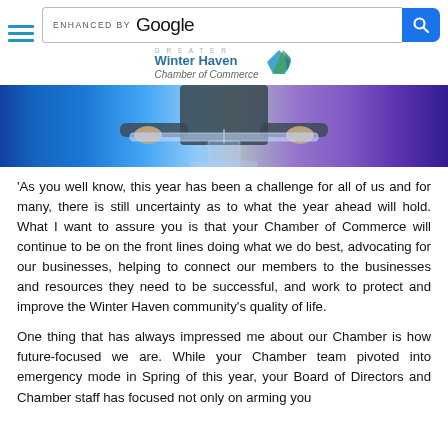[Figure (screenshot): Google search bar with 'ENHANCED BY Google' text and blue search button]
[Figure (logo): Greater Winter Haven Chamber of Commerce logo with blue text and graphic]
[Figure (photo): Person standing at a clear glass/acrylic podium with blue and purple lighting in background]
'As you well know, this year has been a challenge for all of us and for many, there is still uncertainty as to what the year ahead will hold. What I want to assure you is that your Chamber of Commerce will continue to be on the front lines doing what we do best, advocating for our businesses, helping to connect our members to the businesses and resources they need to be successful, and work to protect and improve the Winter Haven community's quality of life.
One thing that has always impressed me about our Chamber is how future-focused we are. While your Chamber team pivoted into emergency mode in Spring of this year, your Board of Directors and Chamber staff has focused not only on arming you